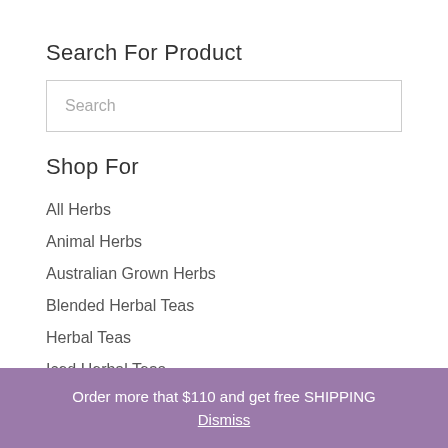Search For Product
Search
Shop For
All Herbs
Animal Herbs
Australian Grown Herbs
Blended Herbal Teas
Herbal Teas
Iced Herbal Teas
Powdered Herbs
Order more that $110 and get free SHIPPING
Dismiss